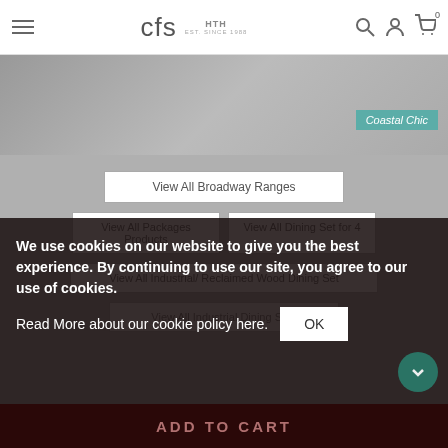CFS — navigation bar with hamburger menu, logo, search, account, cart icons
[Figure (photo): Partial furniture/dining room image with Coastal Chic badge]
View All Broadway Ranges
View All Packages Products
View All Dining Set for 4
View All Industrial/ Reclaimed Wood Dining Set
View All Industrial Dining Sets
We use cookies on our website to give you the best experience. By continuing to use our site, you agree to our use of cookies.
Read More about our cookie policy here.
OK
ADD TO CART